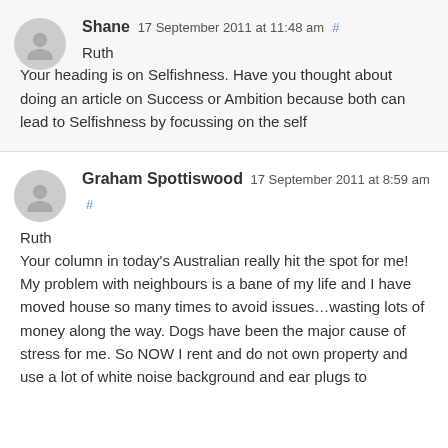Shane 17 September 2011 at 11:48 am #
Ruth
Your heading is on Selfishness. Have you thought about doing an article on Success or Ambition because both can lead to Selfishness by focussing on the self
Graham Spottiswood 17 September 2011 at 8:59 am #
Ruth
Your column in today's Australian really hit the spot for me! My problem with neighbours is a bane of my life and I have moved house so many times to avoid issues…wasting lots of money along the way. Dogs have been the major cause of stress for me. So NOW I rent and do not own property and use a lot of white noise background and ear plugs to